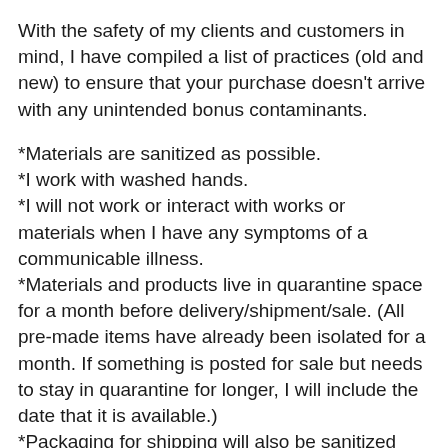With the safety of my clients and customers in mind, I have compiled a list of practices (old and new) to ensure that your purchase doesn't arrive with any unintended bonus contaminants.
*Materials are sanitized as possible.
*I work with washed hands.
*I will not work or interact with works or materials when I have any symptoms of a communicable illness.
*Materials and products live in quarantine space for a month before delivery/shipment/sale. (All pre-made items have already been isolated for a month. If something is posted for sale but needs to stay in quarantine for longer, I will include the date that it is available.)
*Packaging for shipping will also be sanitized and isolated until needed.
*When packing items, I will have clean hands/clean gloves and take all other necessary measures to eliminate contact with any possible exposure sources. Exterior of Package will be